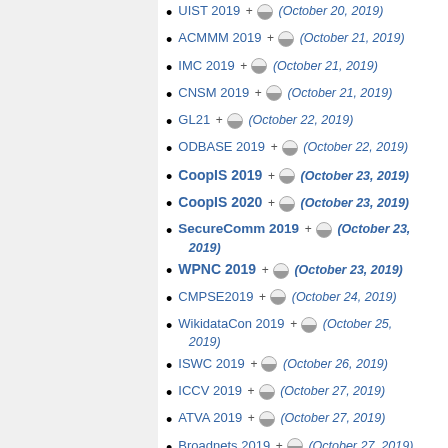UIST 2019 + (October 20, 2019)
ACMMM 2019 + (October 21, 2019)
IMC 2019 + (October 21, 2019)
CNSM 2019 + (October 21, 2019)
GL21 + (October 22, 2019)
ODBASE 2019 + (October 22, 2019)
CoopIS 2019 + (October 23, 2019)
CoopIS 2020 + (October 23, 2019)
SecureComm 2019 + (October 23, 2019)
WPNC 2019 + (October 23, 2019)
CMPSE2019 + (October 24, 2019)
WikidataCon 2019 + (October 25, 2019)
ISWC 2019 + (October 26, 2019)
ICCV 2019 + (October 27, 2019)
ATVA 2019 + (October 27, 2019)
Broadnets 2019 + (October 27, 2019)
ITSC 2019 + (October 27, 2019)